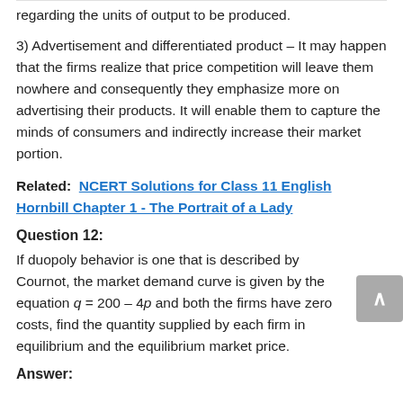regarding the units of output to be produced.
3) Advertisement and differentiated product – It may happen that the firms realize that price competition will leave them nowhere and consequently they emphasize more on advertising their products. It will enable them to capture the minds of consumers and indirectly increase their market portion.
Related:  NCERT Solutions for Class 11 English Hornbill Chapter 1 - The Portrait of a Lady
Question 12:
If duopoly behavior is one that is described by Cournot, the market demand curve is given by the equation q = 200 – 4p and both the firms have zero costs, find the quantity supplied by each firm in equilibrium and the equilibrium market price.
Answer: